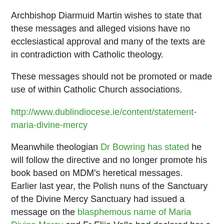Archbishop Diarmuid Martin wishes to state that these messages and alleged visions have no ecclesiastical approval and many of the texts are in contradiction with Catholic theology.
These messages should not be promoted or made use of within Catholic Church associations.
http://www.dublindiocese.ie/content/statement-maria-divine-mercy
Meanwhile theologian Dr Bowring has stated he will follow the directive and no longer promote his book based on MDM's heretical messages. Earlier last year, the Polish nuns of the Sanctuary of the Divine Mercy Sanctuary had issued a message on the blasphemous name of Maria Divine Mercy and Fr Elija Vella had declared her a false prophet on Radio Marija (see video below – it has obtained more than 3000 views to-date).